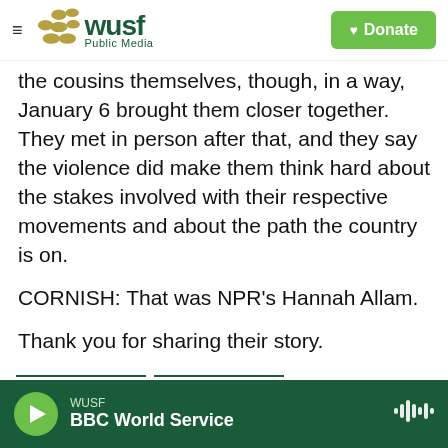WUSF Public Media — hamburger menu + Donate button
the cousins themselves, though, in a way, January 6 brought them closer together. They met in person after that, and they say the violence did make them think hard about the stakes involved with their respective movements and about the path the country is on.
CORNISH: That was NPR's Hannah Allam.
Thank you for sharing their story.
ALLAM: Thank you. Transcript provided by NPR, Copyright NPR.
WUSF BBC World Service